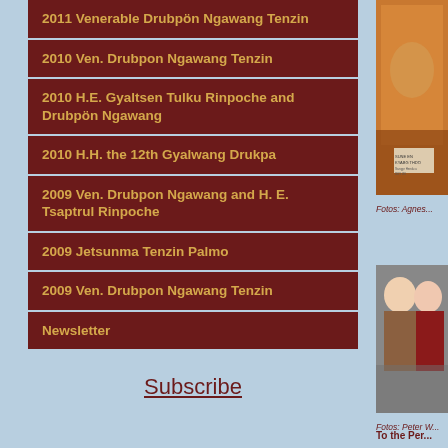2011 Venerable Drubpön Ngawang Tenzin
2010 Ven. Drubpon Ngawang Tenzin
2010 H.E. Gyaltsen Tulku Rinpoche and Drubpön Ngawang
2010 H.H. the 12th Gyalwang Drukpa
2009 Ven. Drubpon Ngawang and H. E. Tsaptrul Rinpoche
2009 Jetsunma Tenzin Palmo
2009 Ven. Drubpon Ngawang Tenzin
Newsletter
Subscribe
[Figure (photo): Photo of a monk in yellow and maroon robes, with a book or card visible in lower right. Caption: Fotos: Agnes...]
Fotos: Agnes...
[Figure (photo): Photo of two people, a man in a brown jacket and a woman in a red top. Caption: Fotos: Peter W...]
Fotos: Peter W...
To the Per...